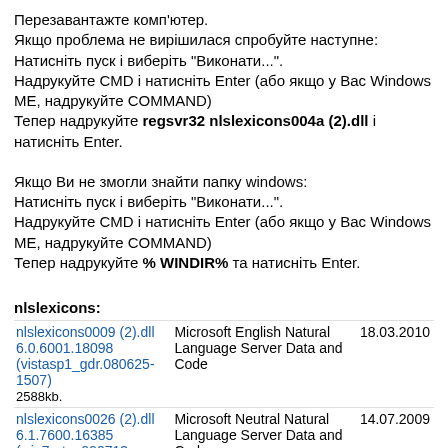Перезавантажте комп'ютер.
Якщо проблема не вирішилася спробуйте наступне:
Натисніть пуск і виберіть "Виконати...".
Надрукуйте CMD і натисніть Enter (або якщо у Вас Windows ME, надрукуйте COMMAND)
Тепер надрукуйте regsvr32 nlslexicons004a (2).dll і натисніть Enter.
Якщо Ви не змогли знайти папку windows:
Натисніть пуск і виберіть "Виконати...".
Надрукуйте CMD і натисніть Enter (або якщо у Вас Windows ME, надрукуйте COMMAND)
Тепер надрукуйте % WINDIR% та натисніть Enter.
nlslexicons:
| File | Description | Date |
| --- | --- | --- |
| nlslexicons0009 (2).dll 6.0.6001.18098 (vistasp1_gdr.080625-1507) 2588kb. | Microsoft English Natural Language Server Data and Code | 18.03.2010 |
| nlslexicons0026 (2).dll 6.1.7600.16385 (win7_rtm.090713-1255) 5656kb. | Microsoft Neutral Natural Language Server Data and Code | 14.07.2009 |